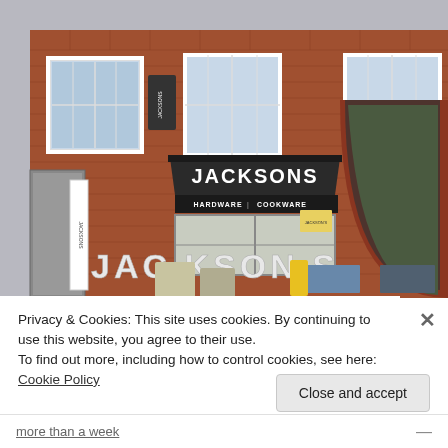[Figure (photo): Exterior photograph of Jacksons Hardware and Cookware shop. A red brick building with white sash windows on upper floor. A dark awning reads 'JACKSONS' in large letters with 'HARDWARE | COOKWARE' on a strip below. Large 3D letters spelling 'JACKSONS' are mounted at ground level on the facade. To the right is a large brick archway leading through to a courtyard with trees visible. A white banner sign is on the left side.]
Privacy & Cookies: This site uses cookies. By continuing to use this website, you agree to their use.
To find out more, including how to control cookies, see here: Cookie Policy
Close and accept
more than a week